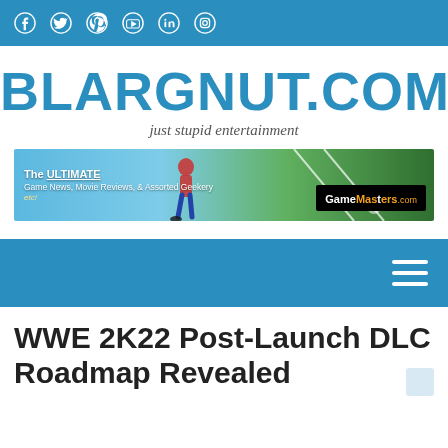Social media icons: Facebook, Twitter, Pinterest, YouTube, LinkedIn, Instagram
BLARGNUT.COM
just stupid entertainment
[Figure (illustration): GameMasters.com advertisement banner with text 'The ULTIMATE Game News, Movie Reviews, & Assorted Geekery etc!' on a blue/green soccer field background]
[Figure (screenshot): Blue navigation bar with hamburger menu icon on the right]
WWE 2K22 Post-Launch DLC Roadmap Revealed